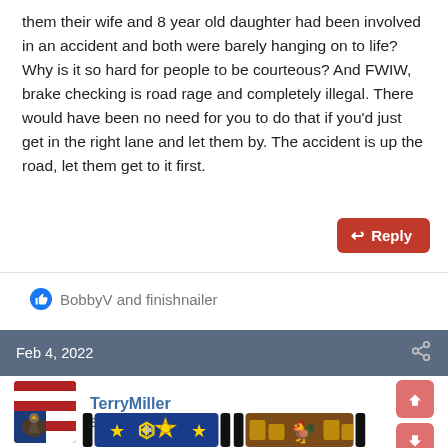them their wife and 8 year old daughter had been involved in an accident and both were barely hanging on to life? Why is it so hard for people to be courteous? And FWIW, brake checking is road rage and completely illegal. There would have been no need for you to do that if you'd just get in the right lane and let them by. The accident is up the road, let them get to it first.
BobbyV and finishnailer
Feb 4, 2022
TerryMiller
Sharpshooter
[Figure (other): User badges: blue strip with stars and sheriff badge, brown strip with gold decorative items, and vote up/down buttons]